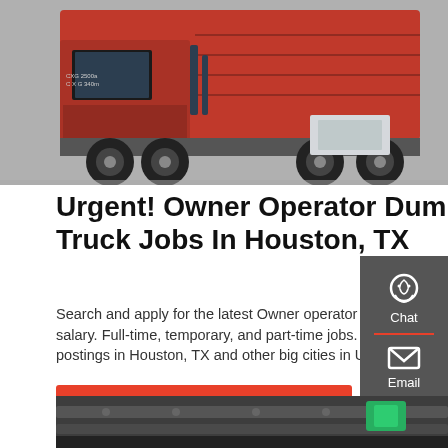[Figure (photo): Red dump truck photographed from the side, showing cab and body with Chinese text markings]
Urgent! Owner Operator Dump Truck Jobs In Houston, TX
Search and apply for the latest Owner operator dump truck jobs in Houston, TX. Verified employers. Competitive salary. Full-time, temporary, and part-time jobs. Job email alerts. Free, fast and easy way find a job of 1.011.000+ postings in Houston, TX and other big cities in USA.
[Figure (infographic): Sidebar with dark grey background containing Chat, Email, and Contact icons/buttons]
GET A QUOTE
[Figure (photo): Undercarriage/chassis detail of a truck, showing green and grey mechanical components]